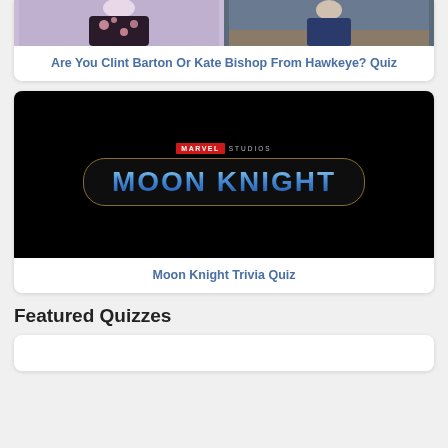[Figure (photo): Hawkeye quiz card showing two people - one in a floral dress on purple background and one in a blue suit on outdoor background]
Are You Clint Barton Or Kate Bishop From Hawkeye? Quiz
[Figure (photo): Moon Knight Marvel Studios title card - dark background with glowing blue 'MOON KNIGHT' text in a gold-bordered rounded rectangle]
Moon Knight Trivia Quiz
Featured Quizzes
[Figure (photo): Partially visible featured quiz card at bottom of page]